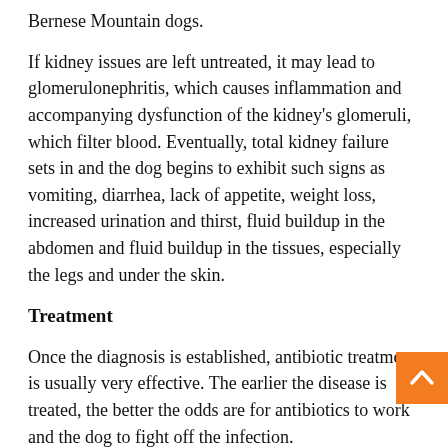Bernese Mountain dogs.
If kidney issues are left untreated, it may lead to glomerulonephritis, which causes inflammation and accompanying dysfunction of the kidney's glomeruli, which filter blood. Eventually, total kidney failure sets in and the dog begins to exhibit such signs as vomiting, diarrhea, lack of appetite, weight loss, increased urination and thirst, fluid buildup in the abdomen and fluid buildup in the tissues, especially the legs and under the skin.
Treatment
Once the diagnosis is established, antibiotic treatment is usually very effective. The earlier the disease is treated, the better the odds are for antibiotics to work and the dog to fight off the infection.
A veterinarian will do a complete blood profile on a dog, including a chemical blood profile, a complete blood count,